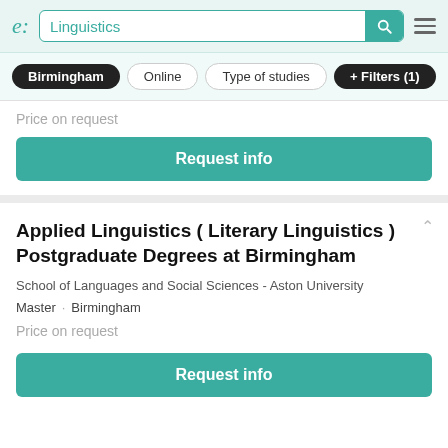e: Linguistics [search bar with filter buttons: Birmingham, Online, Type of studies, + Filters (1)]
Price on request
Request info
Applied Linguistics ( Literary Linguistics ) Postgraduate Degrees at Birmingham
School of Languages and Social Sciences - Aston University
Master · Birmingham
Price on request
Request info